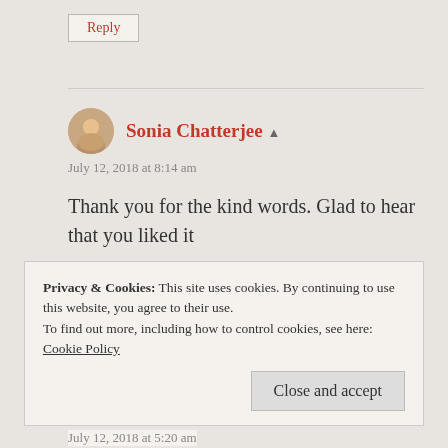Reply
Sonia Chatterjee
July 12, 2018 at 8:14 am
Thank you for the kind words. Glad to hear that you liked it
Like
Privacy & Cookies: This site uses cookies. By continuing to use this website, you agree to their use.
To find out more, including how to control cookies, see here: Cookie Policy
Close and accept
July 12, 2018 at 5:20 am